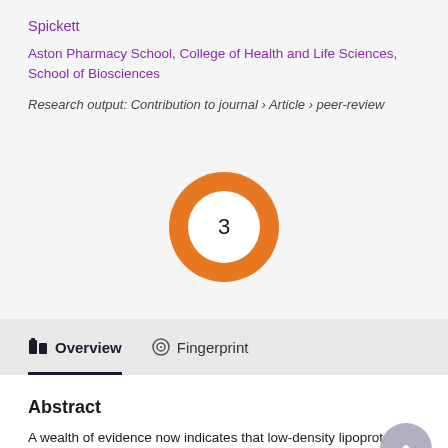Spickett
Aston Pharmacy School, College of Health and Life Sciences, School of Biosciences
Research output: Contribution to journal › Article › peer-review
[Figure (donut-chart): Orange donut chart with the number 3 in the center, representing a citation count or metric badge.]
Overview
Fingerprint
Abstract
A wealth of evidence now indicates that low-density lipoprotein (LDL) must be modified to promote atherosclerosis, and that